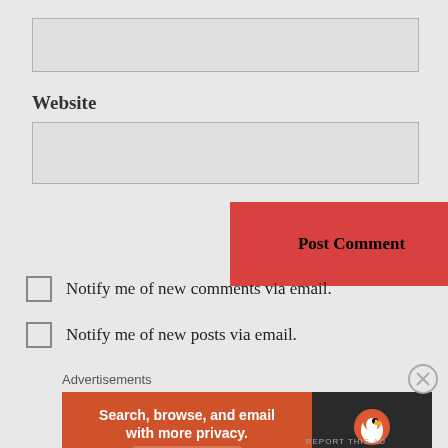[Figure (other): Text input field (email or name field, empty, light gray)]
Website
[Figure (other): Text input field for website URL, empty, light gray]
[Figure (other): Post Comment button, red background, bold black text]
Notify me of new comments via email.
Notify me of new posts via email.
Advertisements
[Figure (infographic): DuckDuckGo advertisement banner: orange left side with text 'Search, browse, and email with more privacy. All in One Free App', dark right side with DuckDuckGo duck logo and 'DuckDuckGo' text]
REPORT THIS AD